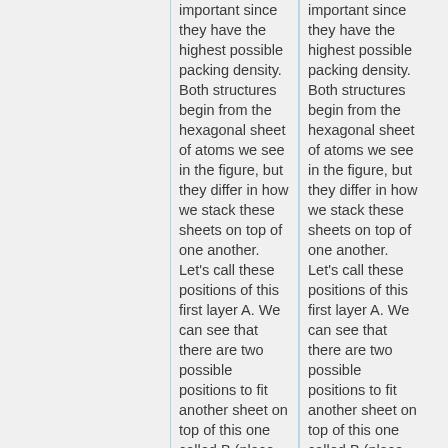important since they have the highest possible packing density. Both structures begin from the hexagonal sheet of atoms we see in the figure, but they differ in how we stack these sheets on top of one another. Let's call these positions of this first layer A. We can see that there are two possible positions to fit another sheet on top of this one called B (place
important since they have the highest possible packing density. Both structures begin from the hexagonal sheet of atoms we see in the figure, but they differ in how we stack these sheets on top of one another. Let's call these positions of this first layer A. We can see that there are two possible positions to fit another sheet on top of this one called B (place